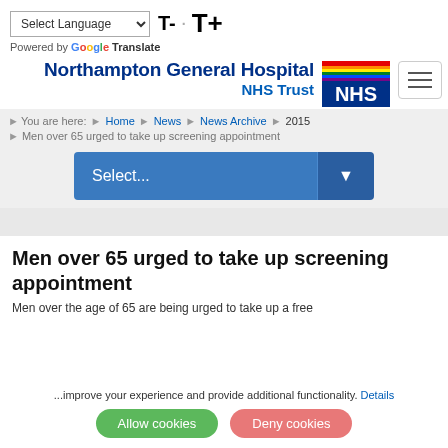Select Language | T- T+ | Powered by Google Translate
[Figure (logo): NHS rainbow logo badge and Northampton General Hospital NHS Trust branding]
[Figure (other): Hamburger menu button with three horizontal lines]
You are here: > Home > News > News Archive > 2015 > Men over 65 urged to take up screening appointment
[Figure (screenshot): Blue dropdown selector widget showing 'Select...']
Men over 65 urged to take up screening appointment
Men over the age of 65 are being urged to take up a free
...improve your experience and provide additional functionality. Details
Allow cookies | Deny cookies